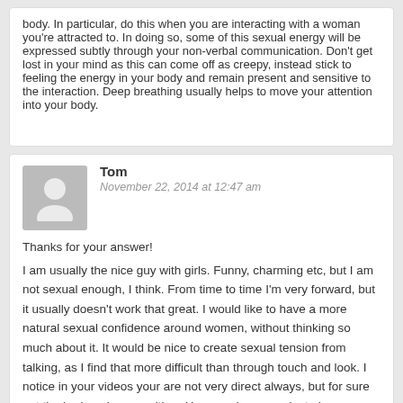body. In particular, do this when you are interacting with a woman you're attracted to. In doing so, some of this sexual energy will be expressed subtly through your non-verbal communication. Don't get lost in your mind as this can come off as creepy, instead stick to feeling the energy in your body and remain present and sensitive to the interaction. Deep breathing usually helps to move your attention into your body.
Tom
November 22, 2014 at 12:47 am
Thanks for your answer! I am usually the nice guy with girls. Funny, charming etc, but I am not sexual enough, I think. From time to time I'm very forward, but it usually doesn't work that great. I would like to have a more natural sexual confidence around women, without thinking so much about it. It would be nice to create sexual tension from talking, as I find that more difficult than through touch and look. I notice in your videos your are not very direct always, but for sure not the boring nice guy either. How can I communicate in a way that creates more tension? I know teasing is part of it, but I have never been really good at it. And if I do it, it's with the girls I'm not that into sexually.